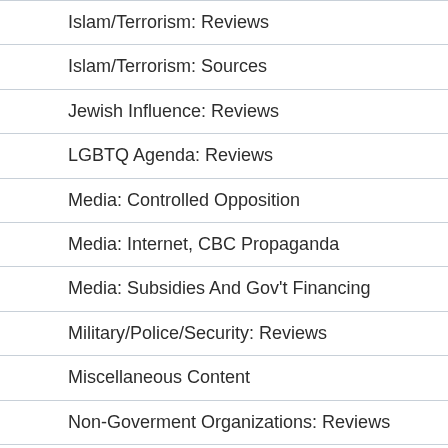Islam/Terrorism: Reviews
Islam/Terrorism: Sources
Jewish Influence: Reviews
LGBTQ Agenda: Reviews
Media: Controlled Opposition
Media: Internet, CBC Propaganda
Media: Subsidies And Gov't Financing
Military/Police/Security: Reviews
Miscellaneous Content
Non-Goverment Organizations: Reviews
Non-Government Organizations: Koch/Soros